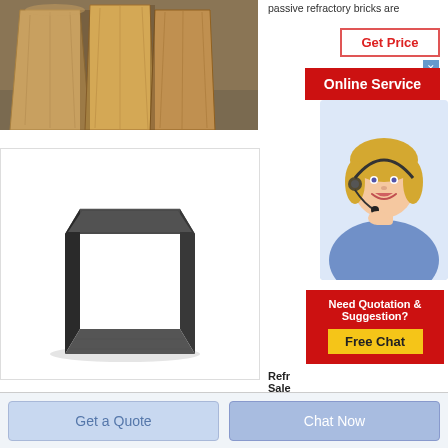[Figure (photo): Photo of refractory/silica bricks with brown/tan coloring, showing brick cross-sections]
passive refractory bricks are
[Figure (other): Get Price button - red bordered white button with red text]
[Figure (other): Online Service button - red background, white text]
[Figure (photo): Customer service representative woman wearing headset, smiling, blue shirt]
[Figure (photo): Photo of dark gray/black rectangular refractory brick on white background]
Refr Sale
Anoth refra
[Figure (other): Need Quotation & Suggestion? Free Chat promotional box with yellow button]
[Figure (other): Get a Quote button - light blue]
[Figure (other): Chat Now button - medium blue]